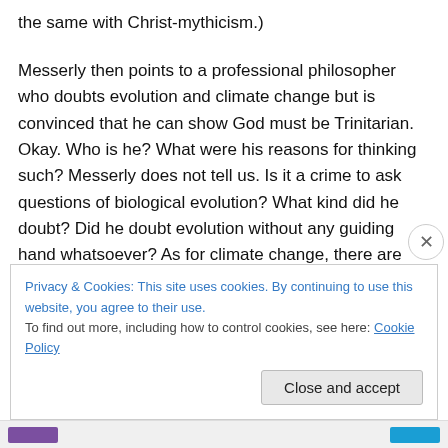the same with Christ-mythicism.)
Messerly then points to a professional philosopher who doubts evolution and climate change but is convinced that he can show God must be Trinitarian. Okay. Who is he? What were his reasons for thinking such? Messerly does not tell us. Is it a crime to ask questions of biological evolution? What kind did he doubt? Did he doubt evolution without any guiding hand whatsoever? As for climate change, there are plenty today who do doubt climate change. It’s not written in stone. Meanwhile, perhaps
Privacy & Cookies: This site uses cookies. By continuing to use this website, you agree to their use.
To find out more, including how to control cookies, see here: Cookie Policy
Close and accept